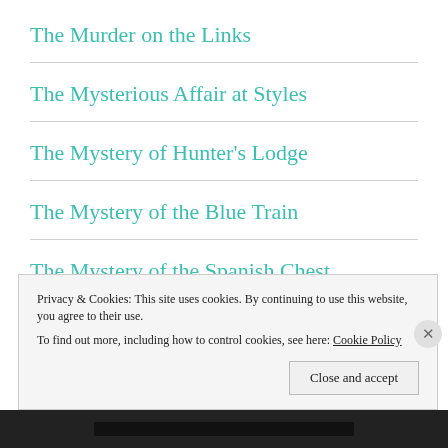The Murder on the Links
The Mysterious Affair at Styles
The Mystery of Hunter's Lodge
The Mystery of the Blue Train
The Mystery of the Spanish Chest
The Nemean Lion
Privacy & Cookies: This site uses cookies. By continuing to use this website, you agree to their use.
To find out more, including how to control cookies, see here: Cookie Policy